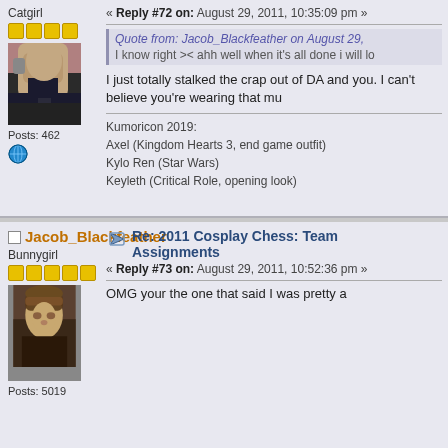Catgirl
[Figure (photo): Forum avatar showing a person in dark armor costume, side profile]
Posts: 462
Reply #72 on: August 29, 2011, 10:35:09 pm
Quote from: Jacob_Blackfeather on August 29,
I know right >< ahh well when it's all done i will lo
I just totally stalked the crap out of DA and you. I can't believe you're wearing that mu
Kumoricon 2019:
Axel (Kingdom Hearts 3, end game outfit)
Kylo Ren (Star Wars)
Keyleth (Critical Role, opening look)
Jacob_Blackfeather
Bunnygirl
[Figure (photo): Forum avatar showing a person wearing aviator goggles and helmet, looking upward]
Re: 2011 Cosplay Chess: Team Assignments
Reply #73 on: August 29, 2011, 10:52:36 pm
OMG your the one that said I was pretty a